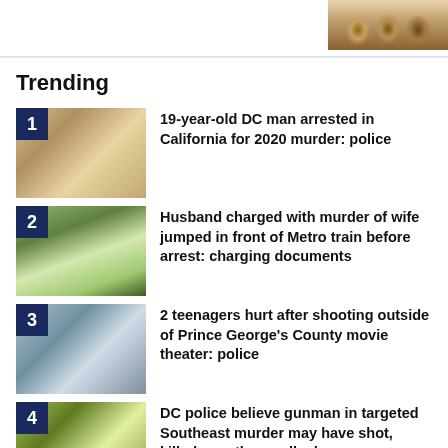[Figure (photo): Group of people, partially visible at top right corner of page]
Trending
19-year-old DC man arrested in California for 2020 murder: police
Husband charged with murder of wife jumped in front of Metro train before arrest: charging documents
2 teenagers hurt after shooting outside of Prince George's County movie theater: police
DC police believe gunman in targeted Southeast murder may have shot, killed man then walked away